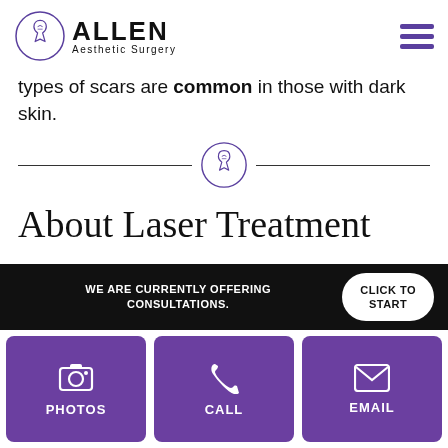Allen Aesthetic Surgery
types of scars are common in those with dark skin.
[Figure (logo): Decorative divider with Allen Aesthetic Surgery logo icon centered between two horizontal lines]
About Laser Treatment
There are a few techniques that Dr. Allen employs to help the appearance of acne scars using laser resurfacing. The two most common techniques involve the use of ablative or non
WE ARE CURRENTLY OFFERING CONSULTATIONS. CLICK TO START
PHOTOS
CALL
EMAIL